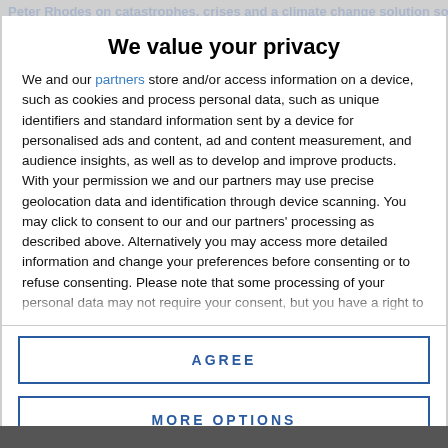Peter Rhodes on catastrophes, crises and a climate change solution so startling...
We value your privacy
We and our partners store and/or access information on a device, such as cookies and process personal data, such as unique identifiers and standard information sent by a device for personalised ads and content, ad and content measurement, and audience insights, as well as to develop and improve products. With your permission we and our partners may use precise geolocation data and identification through device scanning. You may click to consent to our and our partners' processing as described above. Alternatively you may access more detailed information and change your preferences before consenting or to refuse consenting. Please note that some processing of your personal data may not require your consent, but you have a right to
AGREE
MORE OPTIONS